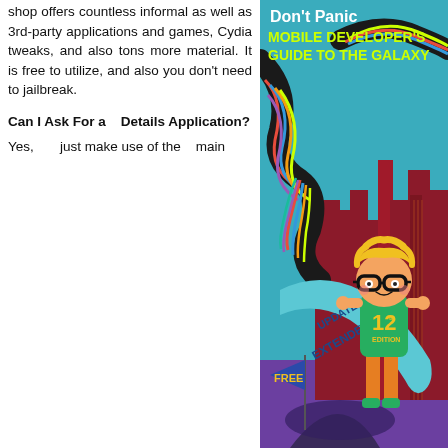shop offers countless informal as well as 3rd-party applications and games, Cydia tweaks, and also tons more material. It is free to utilize, and also you don't need to jailbreak.
Can I Ask For a Details Application?
Yes, just make use of the main
[Figure (illustration): Book cover: 'Don't Panic Mobile Developer's Guide to the Galaxy' 12th Edition. Features a cartoon boy with glasses and blonde hair in a city skyline background with colorful streamers. Includes 'FREE' pennant flag and blue banner reading 'UPDATED & EXTENDED'.]